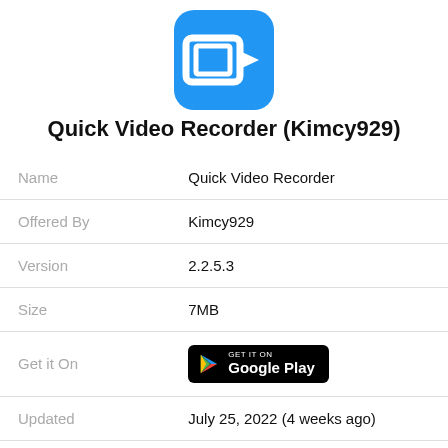[Figure (logo): Quick Video Recorder app icon — blue rounded square with white camera/video icon]
Quick Video Recorder (Kimcy929)
| Name | Quick Video Recorder |
| Offered By | Kimcy929 |
| Version | 2.2.5.3 |
| Size | 7MB |
| Get it On | GET IT ON Google Play |
| Updated | July 25, 2022 (4 weeks ago) |
| MOD Features | Pro Unlocked |